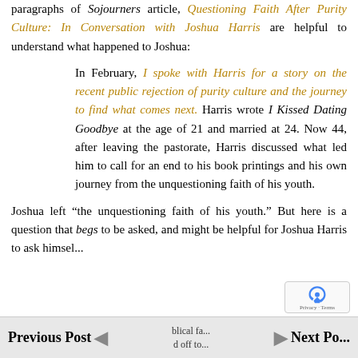paragraphs of Sojourners article, Questioning Faith After Purity Culture: In Conversation with Joshua Harris are helpful to understand what happened to Joshua:
In February, I spoke with Harris for a story on the recent public rejection of purity culture and the journey to find what comes next. Harris wrote I Kissed Dating Goodbye at the age of 21 and married at 24. Now 44, after leaving the pastorate, Harris discussed what led him to call for an end to his book printings and his own journey from the unquestioning faith of his youth.
Joshua left “the unquestioning faith of his youth.” But here is a question that begs to be asked, and might be helpful for Joshua Harris to ask himself
Previous Post   Next Po...